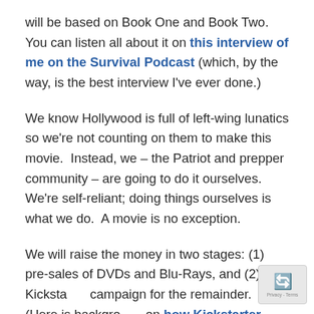will be based on Book One and Book Two.  You can listen all about it on this interview of me on the Survival Podcast (which, by the way, is the best interview I've ever done.)
We know Hollywood is full of left-wing lunatics so we're not counting on them to make this movie.  Instead, we – the Patriot and prepper community – are going to do it ourselves.  We're self-reliant; doing things ourselves is what we do.  A movie is no exception.
We will raise the money in two stages: (1) pre-sales of DVDs and Blu-Rays, and (2) a Kickstarter campaign for the remainder.  (Here is background on how Kickstarter works.)  No one has to pay a